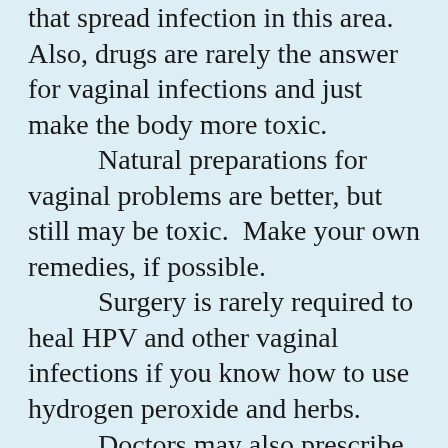that spread infection in this area.  Also, drugs are rarely the answer for vaginal infections and just make the body more toxic.
	Natural preparations for vaginal problems are better, but still may be toxic.  Make your own remedies, if possible.
	Surgery is rarely required to heal HPV and other vaginal infections if you know how to use hydrogen peroxide and herbs.
	Doctors may also prescribe birth control pills, antibiotics and other drugs